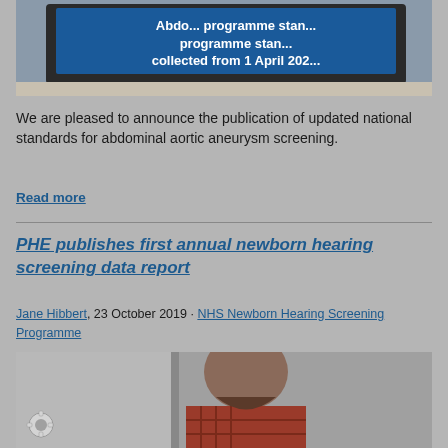[Figure (photo): Computer monitor displaying text about abdominal aortic programme standards collected from 1 April 202X]
We are pleased to announce the publication of updated national standards for abdominal aortic aneurysm screening.
Read more
PHE publishes first annual newborn hearing screening data report
Jane Hibbert, 23 October 2019 · NHS Newborn Hearing Screening Programme
[Figure (photo): A bald bearded man in a red plaid shirt, with a gear/cog icon overlay in the bottom left]